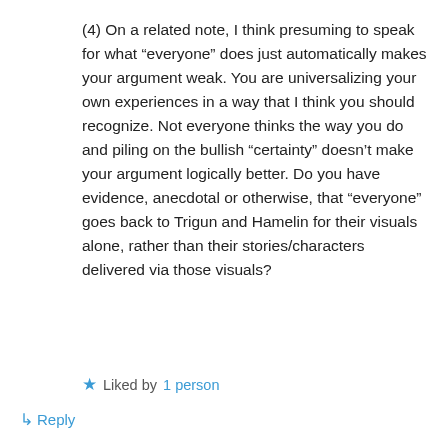(4) On a related note, I think presuming to speak for what “everyone” does just automatically makes your argument weak. You are universalizing your own experiences in a way that I think you should recognize. Not everyone thinks the way you do and piling on the bullish “certainty” doesn’t make your argument logically better. Do you have evidence, anecdotal or otherwise, that “everyone” goes back to Trigun and Hamelin for their visuals alone, rather than their stories/characters delivered via those visuals?
★ Liked by 1 person
↳ Reply